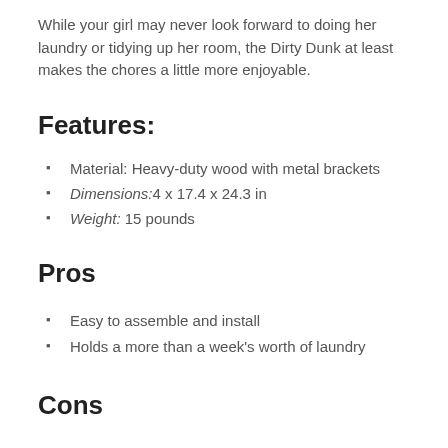While your girl may never look forward to doing her laundry or tidying up her room, the Dirty Dunk at least makes the chores a little more enjoyable.
Features:
Material: Heavy-duty wood with metal brackets
Dimensions:4 x 17.4 x 24.3 in
Weight: 15 pounds
Pros
Easy to assemble and install
Holds a more than a week's worth of laundry
Cons